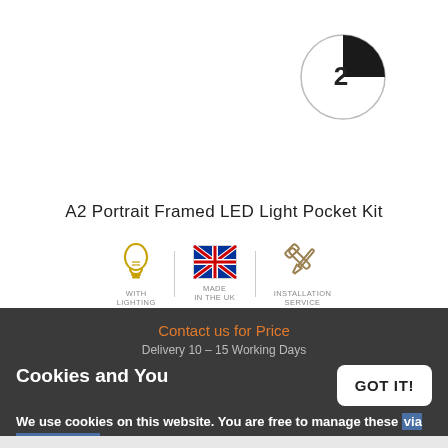[Figure (other): Circular badge showing number 2 with black quarter-circle segment, indicating step 2 or item 2 in a series]
A2 Portrait Framed LED Light Pocket Kit
[Figure (infographic): Three icons in a row separated by vertical dividers: 1) Lightbulb icon labeled 'WITH LIGHTING', 2) UK flag icon labeled 'MADE IN THE UK', 3) Wrench/tools icon labeled 'INSTALLATION SERVICE']
Contact us for Price
Delivery 10 – 15 Working Days
Cookies and You
We use cookies on this website. You are free to manage these via your browser settings at any time. For more about how we use cookies, please see our Cookie Policy.